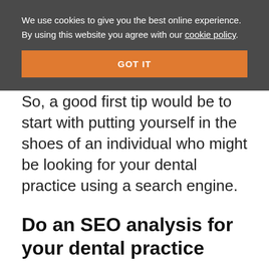We use cookies to give you the best online experience. By using this website you agree with our cookie policy.
GOT IT
So, a good first tip would be to start with putting yourself in the shoes of an individual who might be looking for your dental practice using a search engine.
Do an SEO analysis for your dental practice
You can start by running a free service like Neil Patel's SEO Analyzer